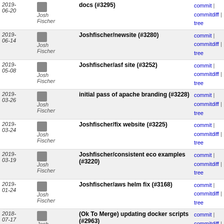| Date | Author | Message | Links |
| --- | --- | --- | --- |
| 2019-06-20 | Josh Fischer | docs (#3295) | commit | commitdiff | tree |
| 2019-06-14 | Josh Fischer | Joshfischer/newsite (#3280) | commit | commitdiff | tree |
| 2019-05-08 | Josh Fischer | Joshfischer/asf site (#3252) | commit | commitdiff | tree |
| 2019-03-26 | Josh Fischer | initial pass of apache branding (#3228) | commit | commitdiff | tree |
| 2019-03-24 | Josh Fischer | Joshfischer/fix website (#3225) | commit | commitdiff | tree |
| 2019-03-19 | Josh Fischer | Joshfischer/consistent eco examples (#3220) | commit | commitdiff | tree |
| 2019-01-24 | Josh Fischer | Joshfischer/aws helm fix (#3168) | commit | commitdiff | tree |
| 2018-07-17 | Josh Fischer | (Ok To Merge) updating docker scripts (#2963) | commit | commitdiff | tree |
| 2018-07-12 | Josh Fischer | joshfischer/update k8s docs (#2960) | commit | commitdiff | tree |
| 2018-05-08 | Josh Fischer | fixing test (#2894) | commit | commitdiff | tree |
| 2018-04-06 | Josh Fischer | Joshfischer/eco stateful topology (#2851) | commit | commitdiff | tree |
| 2018-04-01 | Josh Fischer | removing abstract requirement (#2830) | commit | commitdiff | tree |
| 2018-02-10 | Josh Fischer | Joshfischer/eco docs redeux (#2703) | commit | commitdiff | tree |
| 2018- | Josh Fischer | Joshfischer/eco config (#2659) | commit |